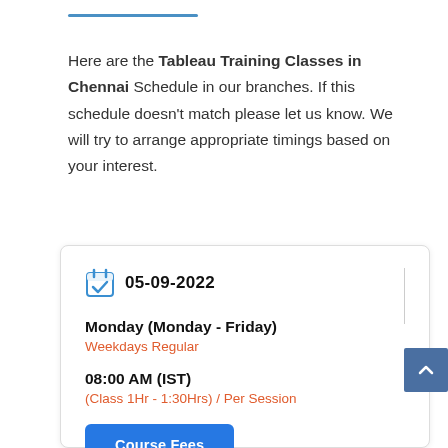Here are the Tableau Training Classes in Chennai Schedule in our branches. If this schedule doesn't match please let us know. We will try to arrange appropriate timings based on your interest.
05-09-2022
Monday (Monday - Friday)
Weekdays Regular
08:00 AM (IST)
(Class 1Hr - 1:30Hrs) / Per Session
Course Fees